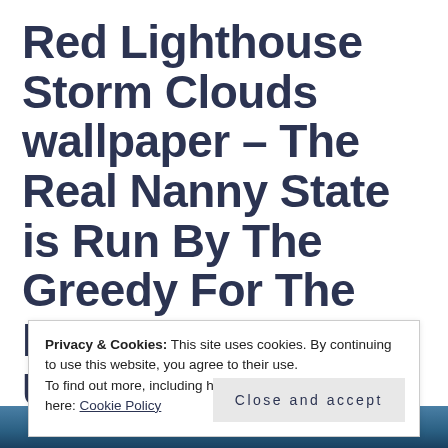Red Lighthouse Storm Clouds wallpaper – The Real Nanny State is Run By The Greedy For The Benefit of Unpatriotic Plutocrats
Privacy & Cookies: This site uses cookies. By continuing to use this website, you agree to their use.
To find out more, including how to control cookies, see here: Cookie Policy
Close and accept
[Figure (photo): Bottom strip of a photo showing a stormy blue sky, partial view]